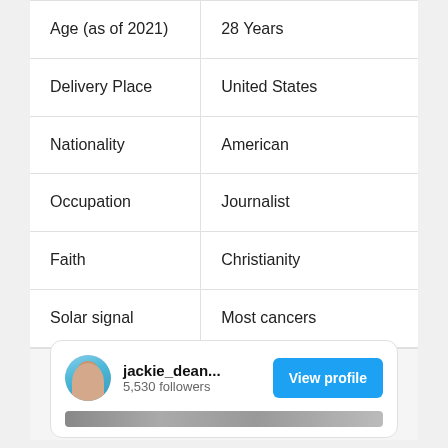| Attribute | Value |
| --- | --- |
| Age (as of 2021) | 28 Years |
| Delivery Place | United States |
| Nationality | American |
| Occupation | Journalist |
| Faith | Christianity |
| Solar signal | Most cancers |
Bodily Statistics
[Figure (screenshot): Social media profile card showing jackie_dean... with 5,530 followers and a View profile button in blue]